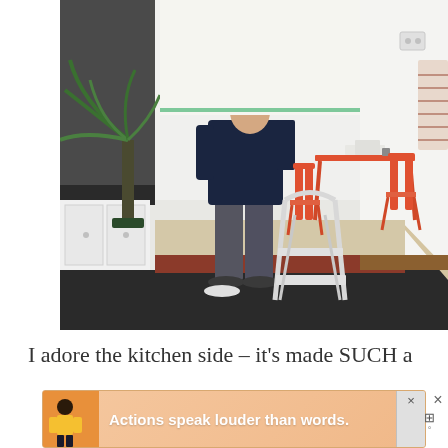[Figure (photo): A person standing with their back to the camera in a room being renovated or painted. They wear a dark navy sweater and grey trousers. A white step-ladder is visible in the foreground center. Orange/coral chairs and a table are in the background. A large plant is to the left. Drop cloths cover the floor. A striped cloth hangs on the right wall near a light switch.]
I adore the kitchen side – it's made SUCH a
[Figure (infographic): Advertisement banner with peach/salmon background. Shows a figure on the left and text 'Actions speak louder than words.' with a small X close button and a logo on the right.]